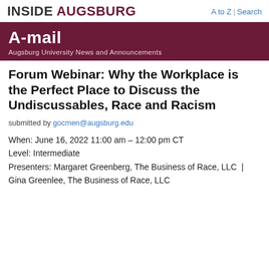INSIDE AUGSBURG | A to Z | Search
A-mail
Augsburg University News and Announcements
Forum Webinar: Why the Workplace is the Perfect Place to Discuss the Undiscussables, Race and Racism
submitted by gocmen@augsburg.edu
When: June 16, 2022 11:00 am – 12:00 pm CT
Level: Intermediate
Presenters: Margaret Greenberg, The Business of Race, LLC  |  Gina Greenlee, The Business of Race, LLC